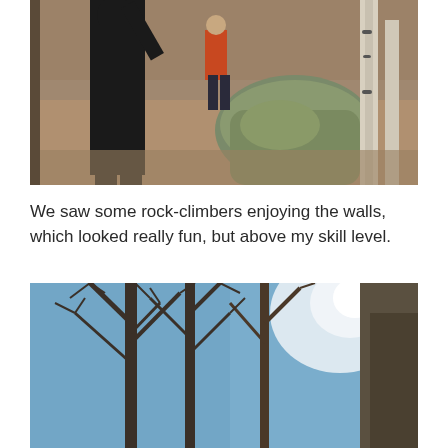[Figure (photo): A person dressed in black clothing standing among rocks and leaf-covered ground in a forest setting, with another person visible in background wearing orange, and mossy boulders and birch trees visible.]
We saw some rock-climbers enjoying the walls, which looked really fun, but above my skill level.
[Figure (photo): Upward view of bare winter trees with branches silhouetted against a blue sky and bright white sun, with a large rock face visible on the right side.]